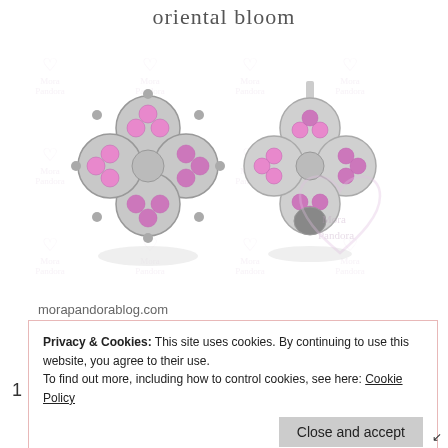oriental bloom
[Figure (photo): Two silver flower-shaped stud earrings with pink gemstones, shown from front and side angle. Watermark background with hearts and 'Mora Pandora' text pattern. Large Mora Pandora heart logo watermark in bottom right.]
morapandorablog.com
Privacy & Cookies: This site uses cookies. By continuing to use this website, you agree to their use.
To find out more, including how to control cookies, see here: Cookie Policy
Close and accept